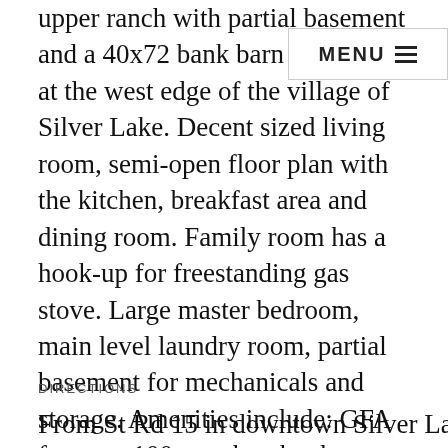upper ranch with partial basement and a 40x72 bank barn on 2 acres at the west edge of the village of Silver Lake. Decent sized living room, semi-open floor plan with the kitchen, breakfast area and dining room. Family room has a hook-up for freestanding gas stove. Large master bedroom, main level laundry room, partial basement for mechanicals and storage. Amenities include: GFA furnace, 100 amp breaker box, city water, city sewer, NIPSCO gas & electric service. Metal sided 40x72 bank barn at the rear of the property allows multiple options for usage. Level homesite with horseshoe shaped driveway for easy in and out from Main Street. Property to be listed for sale in MLS for 7 days before the seller will review/respond to offers.
DIRECTIONS
From St Rd 15 in downtown Silver Lake (Jeff...